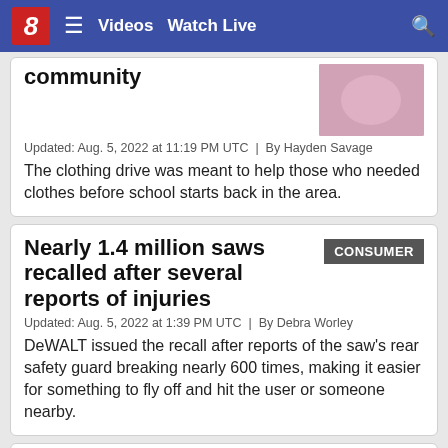8 — Videos  Watch Live
community
Updated: Aug. 5, 2022 at 11:19 PM UTC  |  By Hayden Savage
The clothing drive was meant to help those who needed clothes before school starts back in the area.
Nearly 1.4 million saws recalled after several reports of injuries
CONSUMER
Updated: Aug. 5, 2022 at 1:39 PM UTC  |  By Debra Worley
DeWALT issued the recall after reports of the saw's rear safety guard breaking nearly 600 times, making it easier for something to fly off and hit the user or someone nearby.
School helps parents
EDUCATION